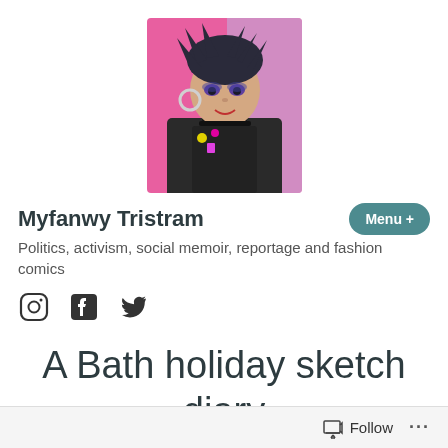[Figure (illustration): Profile avatar illustration of a punk-styled character with dark hair, hoop earrings, choker necklace and leather jacket, against a pink and purple background]
Myfanwy Tristram
Politics, activism, social memoir, reportage and fashion comics
[Figure (infographic): Social media icons: Instagram, Facebook, Twitter]
A Bath holiday sketch diary
Follow ...